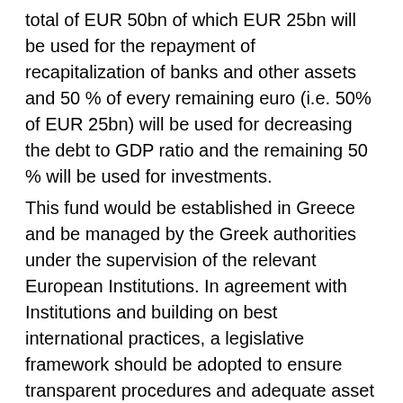total of EUR 50bn of which EUR 25bn will be used for the repayment of recapitalization of banks and other assets and 50 % of every remaining euro (i.e. 50% of EUR 25bn) will be used for decreasing the debt to GDP ratio and the remaining 50 % will be used for investments.
This fund would be established in Greece and be managed by the Greek authorities under the supervision of the relevant European Institutions. In agreement with Institutions and building on best international practices, a legislative framework should be adopted to ensure transparent procedures and adequate asset sale pricing, according to OECD principles and standards on the management of State Owned Enterprises (SOEs); inline with the Greek government traditions...